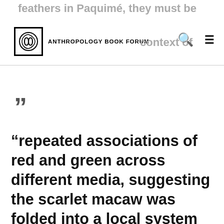feathers in Paquimé, they must be — context of
ANTHROPOLOGY BOOK FORUM
“”
“repeated associations of red and green across different media, suggesting the scarlet macaw was folded into a local system of meaning. These items may have taken on significance mainly in